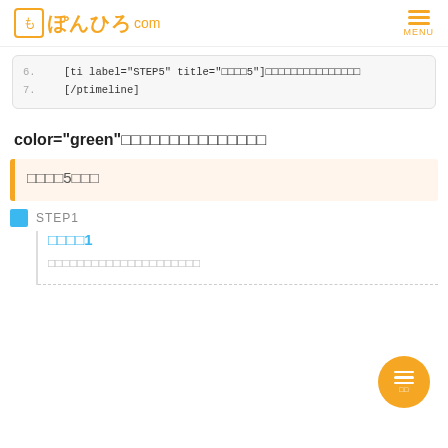ぽんひろ com  MENU
6.  [ti label="STEP5" title="□□□□5"]□□□□□□□□□□□□□□□
7.  [/ptimeline]
color="green"□□□□□□□□□□□□□□□
□□□□5□□□
STEP1  □□□□1  □□□□□□□□□□□□□□□□□□□□□